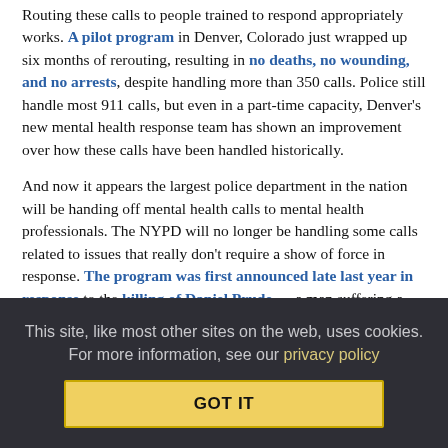Routing these calls to people trained to respond appropriately works. A pilot program in Denver, Colorado just wrapped up six months of rerouting, resulting in no deaths, no wounding, and no arrests, despite handling more than 350 calls. Police still handle most 911 calls, but even in a part-time capacity, Denver's new mental health response team has shown an improvement over how these calls have been handled historically.
And now it appears the largest police department in the nation will be handing off mental health calls to mental health professionals. The NYPD will no longer be handling some calls related to issues that really don't require a show of force in response. The program was first announced late last year in response to the killing of Daniel Prude — a man suffering a mental breakdown — by Rochester, New York police officers.
This site, like most other sites on the web, uses cookies. For more information, see our privacy policy
GOT IT